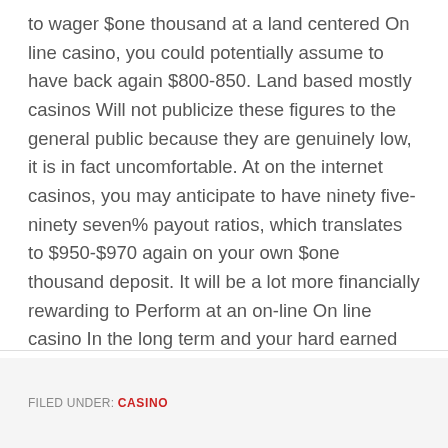to wager $one thousand at a land centered On line casino, you could potentially assume to have back again $800-850. Land based mostly casinos Will not publicize these figures to the general public because they are genuinely low, it is in fact uncomfortable. At on the internet casinos, you may anticipate to have ninety five-ninety seven% payout ratios, which translates to $950-$970 again on your own $one thousand deposit. It will be a lot more financially rewarding to Perform at an on-line On line casino In the long term and your hard earned money will stretch more.
FILED UNDER: CASINO